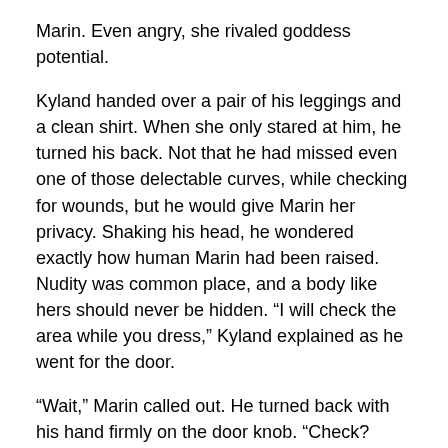Marin. Even angry, she rivaled goddess potential.
Kyland handed over a pair of his leggings and a clean shirt. When she only stared at him, he turned his back. Not that he had missed even one of those delectable curves, while checking for wounds, but he would give Marin her privacy. Shaking his head, he wondered exactly how human Marin had been raised. Nudity was common place, and a body like hers should never be hidden. “I will check the area while you dress,” Kyland explained as he went for the door.
“Wait,” Marin called out. He turned back with his hand firmly on the door knob. “Check? Check for what?”
“Gremlins, or any other form of attack.”
Eyes widening, Marin held her palm up before turning